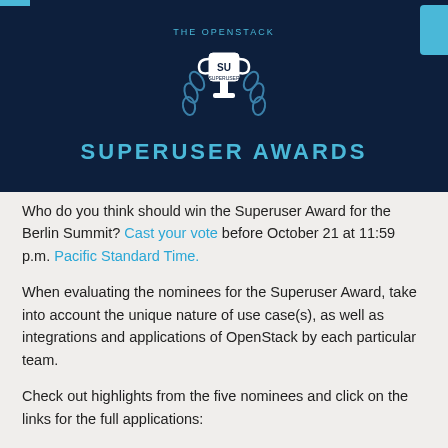[Figure (illustration): OpenStack Superuser Awards banner with trophy icon on dark navy background and cyan title text]
Who do you think should win the Superuser Award for the Berlin Summit? Cast your vote before October 21 at 11:59 p.m. Pacific Standard Time.
When evaluating the nominees for the Superuser Award, take into account the unique nature of use case(s), as well as integrations and applications of OpenStack by each particular team.
Check out highlights from the five nominees and click on the links for the full applications: